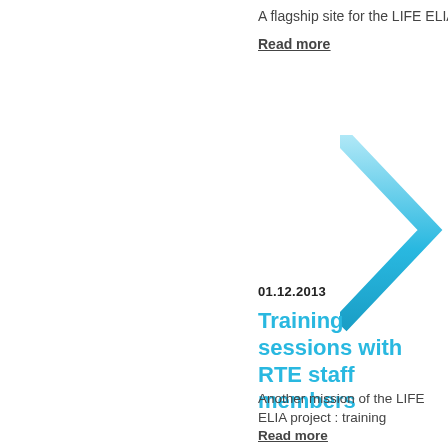A flagship site for the LIFE ELIA p
Read more
[Figure (illustration): A large cyan/light blue chevron arrow pointing right, partially visible at the right edge of the page]
01.12.2013
Training sessions with RTE staff members
Another mission of the LIFE ELIA project : training
Read more